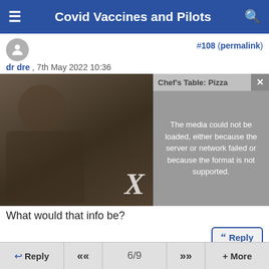Covid Vaccines and Pilots
#108 (permalink)
dr dre , 7th May 2022 10:36
[Figure (screenshot): Embedded video player showing Chef's Table: Pizza with an error message overlay: The media could not be loaded, either because the server or network failed or because the format is not supported. A large X is shown at the bottom center.]
What would that info be?
Reply
#109 (permalink)
Wizofoz , 7th May 2022 21:53
Quote:
Reply  «  6/9  »  + More